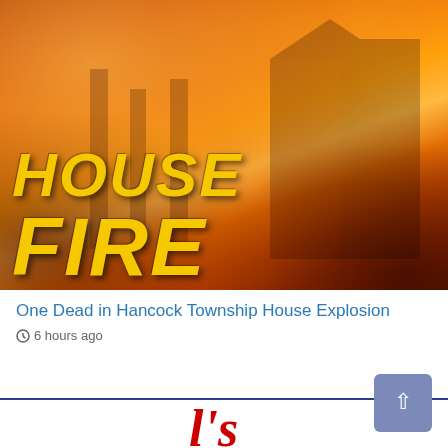[Figure (photo): House fire stock image graphic with large bold yellow italic text reading 'HOUSE FIRE' over a background of flames and a burning building silhouette]
One Dead in Hancock Township House Explosion
6 hours ago
[Figure (logo): Partial red italic script logo partially visible at the bottom center of the page]